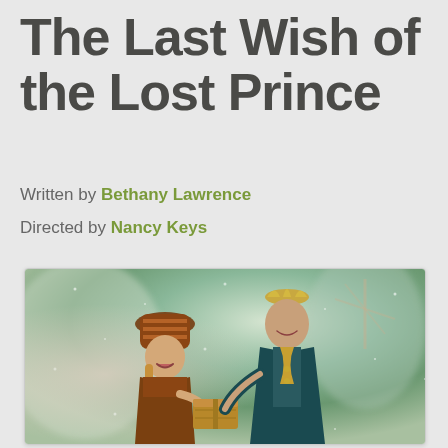The Last Wish of the Lost Prince
Written by Bethany Lawrence
Directed by Nancy Keys
[Figure (photo): Two actors in medieval fantasy costumes on stage. A young girl in a brown peasant outfit with a striped hat smiles as she looks at a wooden chest being held by a taller young man dressed as a prince wearing a dark teal/green cloak with gold accents and a crown headpiece. Background shows a blurred green and warm-toned set.]